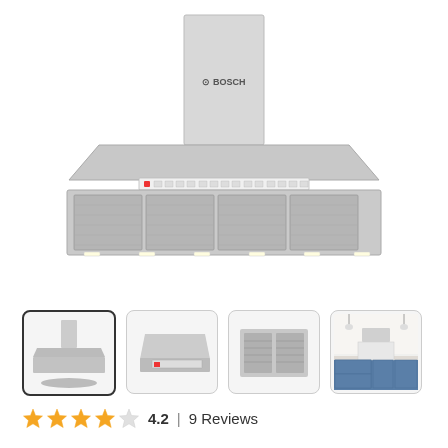[Figure (photo): Main product image of a Bosch stainless steel wall-mount range hood, showing the chimney-style hood from the front with control panel visible]
[Figure (photo): Thumbnail 1 (selected): Bosch range hood front view, chimney style stainless steel]
[Figure (photo): Thumbnail 2: Bosch range hood side/angle view showing control panel strip]
[Figure (photo): Thumbnail 3: Bosch range hood bottom/underside view showing filter grilles]
[Figure (photo): Thumbnail 4: Kitchen lifestyle photo showing the Bosch range hood installed above a stove in a blue-cabinet kitchen]
4.2  |  9 Reviews